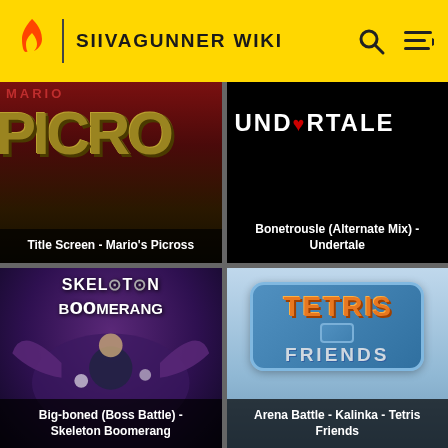SIIVAGUNNER WIKI
[Figure (screenshot): Title Screen - Mario's Picross thumbnail showing PICROSS text in olive/gold blocky letters on dark red background]
Title Screen - Mario's Picross
[Figure (screenshot): Undertale game logo on black background showing UNDERTALE text with heart symbol]
Bonetrousle (Alternate Mix) - Undertale
[Figure (illustration): Skeleton Boomerang game art showing skeletal characters and purple bat wings on dark background with game logo]
Big-boned (Boss Battle) - Skeleton Boomerang
[Figure (screenshot): Tetris Friends logo showing TETRIS in orange block letters and FRIENDS below on blue/grey background]
Arena Battle - Kalinka - Tetris Friends